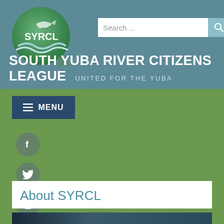[Figure (logo): SYRCL logo — green globe with fish and waves]
Search ...
SOUTH YUBA RIVER CITIZENS LEAGUE   UNITED FOR THE YUBA
[Figure (screenshot): MENU navigation button with hamburger icon]
[Figure (infographic): Social media icons: Facebook, Twitter, Instagram, YouTube]
About SYRCL
[Figure (photo): Partial photo at bottom of page]